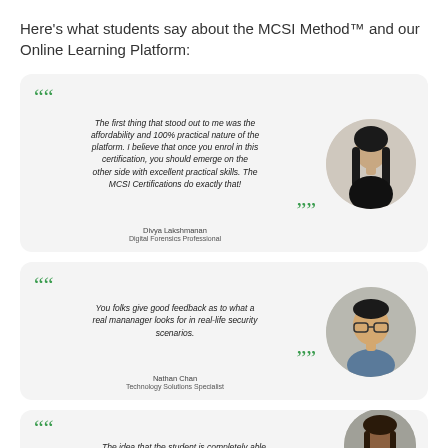Here’s what students say about the MCSI Method™ and our Online Learning Platform:
“The first thing that stood out to me was the affordability and 100% practical nature of the platform. I believe that once you enrol in this certification, you should emerge on the other side with excellent practical skills. The MCSI Certifications do exactly that!”
Divya Lakshmanan
Digital Forensics Professional
[Figure (photo): Circular portrait photo of Divya Lakshmanan, a woman with long dark hair wearing a dark top]
“You folks give good feedback as to what a real mananager looks for in real-life security scenarios.”
Nathan Chan
Technology Solutions Specialist
[Figure (photo): Circular portrait photo of Nathan Chan, a man wearing glasses]
“The idea that the student is completely able to demonstrate their arrival at a solution is